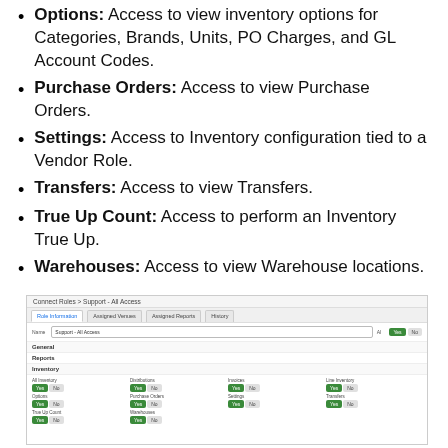Options: Access to view inventory options for Categories, Brands, Units, PO Charges, and GL Account Codes.
Purchase Orders: Access to view Purchase Orders.
Settings: Access to Inventory configuration tied to a Vendor Role.
Transfers: Access to view Transfers.
True Up Count: Access to perform an Inventory True Up.
Warehouses: Access to view Warehouse locations.
[Figure (screenshot): Screenshot of Connect Roles > Support - All Access page showing Role Information tab with Name field 'Support - All Access', AI toggle set to Yes, and Inventory section with Yes/No toggles for: All Inventory, Distributions, Invoices, Line Inventory, Options, Purchase Orders, Settings, Transfers, True Up Count, Warehouses — all set to Yes.]